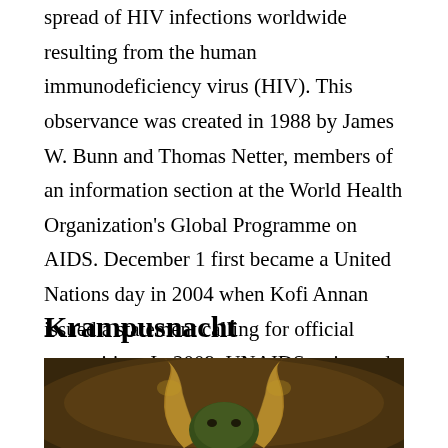spread of HIV infections worldwide resulting from the human immunodeficiency virus (HIV). This observance was created in 1988 by James W. Bunn and Thomas Netter, members of an information section at the World Health Organization's Global Programme on AIDS. December 1 first became a United Nations day in 2004 when Kofi Annan issued a statement calling for official recognition. In 2009, UNAIDS estimated that there were 33.3 million people living with HIV worldwide.
Krampusnacht
[Figure (photo): Dark atmospheric image showing a creature with large curved golden horns and a greenish face, lit dramatically against a smoky brown background.]